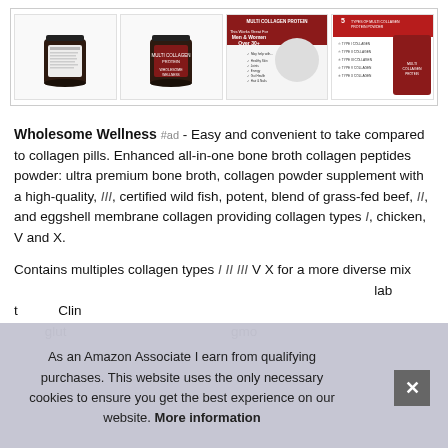[Figure (photo): Four product images in a horizontal strip: two dark jars of collagen powder supplement (back label and front views), one lifestyle advertising image with text 'This Works Great For Men & Women Over 30+', and one infographic showing 5 types of multi collagen protein powder.]
Wholesome Wellness #ad - Easy and convenient to take compared to collagen pills. Enhanced all-in-one bone broth collagen peptides powder: ultra premium bone broth, collagen powder supplement with a high-quality, III, certified wild fish, potent, blend of grass-fed beef, II, and eggshell membrane collagen providing collagen types I, chicken, V and X.
Contains multiples collagen types I II III V X for a more diverse mix of collagen types to support your body from all areas. Certified lab tested. Clinically studied ingredients, soy free, dairy free, hormone free, gluten free, antibiotic free, non-gmo, sugar free, no artificial flavors, no gmo...
As an Amazon Associate I earn from qualifying purchases. This website uses the only necessary cookies to ensure you get the best experience on our website. More information